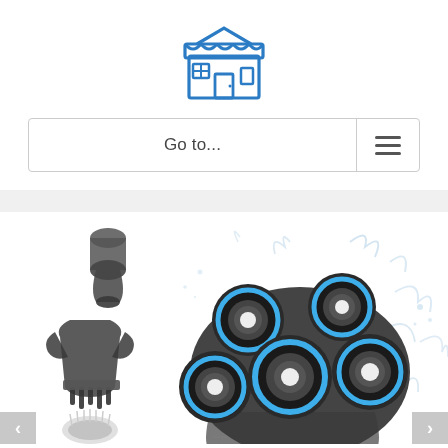[Figure (logo): Blue line-art store/shop icon with awning and storefront]
Go to...
[Figure (photo): Electric rotary shaver with 5 blue-ring shaving heads shown with water splash, plus detachable nose trimmer, beard trimmer/comb, and facial cleansing brush attachments on the left side]